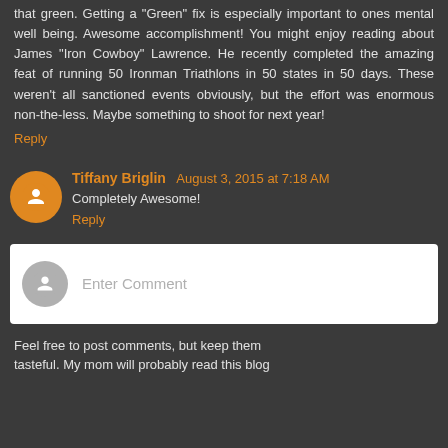that green. Getting a "Green" fix is especially important to ones mental well being. Awesome accomplishment! You might enjoy reading about James "Iron Cowboy" Lawrence. He recently completed the amazing feat of running 50 Ironman Triathlons in 50 states in 50 days. These weren't all sanctioned events obviously, but the effort was enormous non-the-less. Maybe something to shoot for next year!
Reply
Tiffany Briglin August 3, 2015 at 7:18 AM
Completely Awesome!
Reply
Enter Comment
Feel free to post comments, but keep them tasteful. My mom will probably read this blog